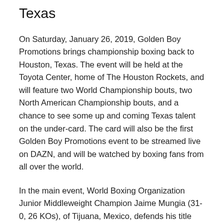Texas
On Saturday, January 26, 2019, Golden Boy Promotions brings championship boxing back to Houston, Texas. The event will be held at the Toyota Center, home of The Houston Rockets, and will feature two World Championship bouts, two North American Championship bouts, and a chance to see some up and coming Texas talent on the under-card. The card will also be the first Golden Boy Promotions event to be streamed live on DAZN, and will be watched by boxing fans from all over the world.
In the main event, World Boxing Organization Junior Middleweight Champion Jaime Mungia (31-0, 26 KOs), of Tijuana, Mexico, defends his title against number 3 ranked challenger Takeshi Inoue, (13-0-1, 7 KO's) from